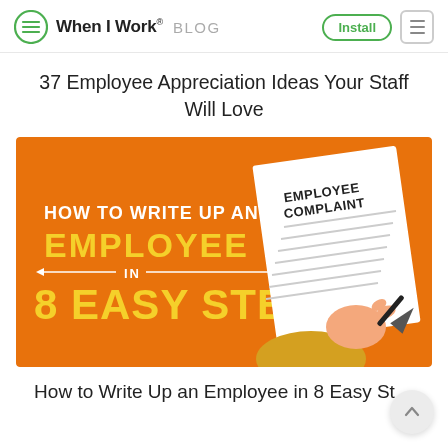When I Work® BLOG
37 Employee Appreciation Ideas Your Staff Will Love
[Figure (infographic): Orange background infographic with text 'HOW TO WRITE UP AN EMPLOYEE IN 8 EASY STEPS' on the left and an illustration of hands signing an 'EMPLOYEE COMPLAINT' document on the right.]
How to Write Up an Employee in 8 Easy St…